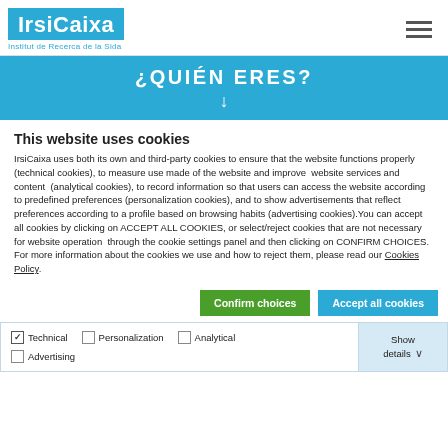[Figure (logo): IrsiCaixa logo with blue background and tagline 'Institut de Recerca de la Sida']
[Figure (screenshot): Hero banner with light blue background showing '¿QUIÉN ERES?' text and a downward arrow]
This website uses cookies
IrsiCaixa uses both its own and third-party cookies to ensure that the website functions properly (technical cookies), to measure use made of the website and improve website services and content (analytical cookies), to record information so that users can access the website according to predefined preferences (personalization cookies), and to show advertisements that reflect preferences according to a profile based on browsing habits (advertising cookies).You can accept all cookies by clicking on ACCEPT ALL COOKIES, or select/reject cookies that are not necessary for website operation through the cookie settings panel and then clicking on CONFIRM CHOICES. For more information about the cookies we use and how to reject them, please read our Cookies Policy.
Confirm choices | Accept all cookies
| Technical | Personalization | Analytical | Show details |
| Advertising |  |  |  |